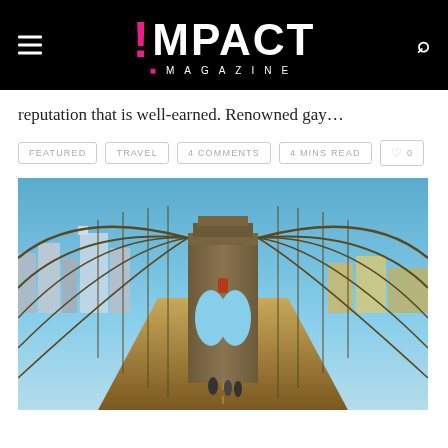IMPACT MAGAZINE
reputation that is well-earned. Renowned gay...
FEATURED
TRAVEL
4 COMMENTS
4 MINS READ
0
[Figure (photo): Brooklyn Bridge walkway perspective shot with Manhattan skyline and blue sky in background]